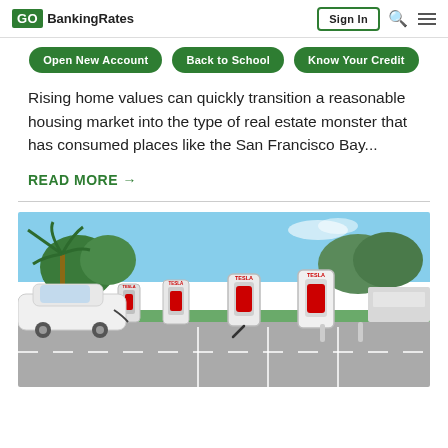GOBankingRates | Sign In
Open New Account | Back to School | Know Your Credit
Rising home values can quickly transition a reasonable housing market into the type of real estate monster that has consumed places like the San Francisco Bay...
READ MORE →
[Figure (photo): Tesla Supercharger station with multiple white Tesla charging units in a sunny parking lot with palm trees and green trees in the background]